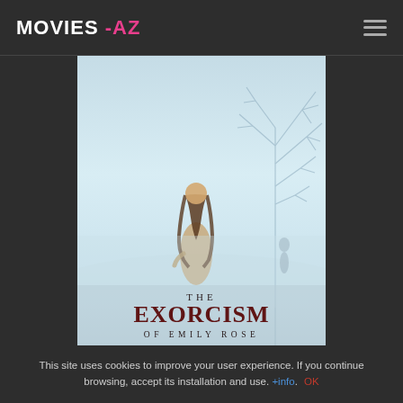MOVIES -AZ
[Figure (photo): Movie poster for 'The Exorcism of Emily Rose' showing a lone figure with long hair standing in a misty landscape with a bare tree silhouette in the background. The title reads THE EXORCISM OF EMILY ROSE in gothic/dark lettering at the bottom.]
This site uses cookies to improve your user experience. If you continue browsing, accept its installation and use. +info. OK